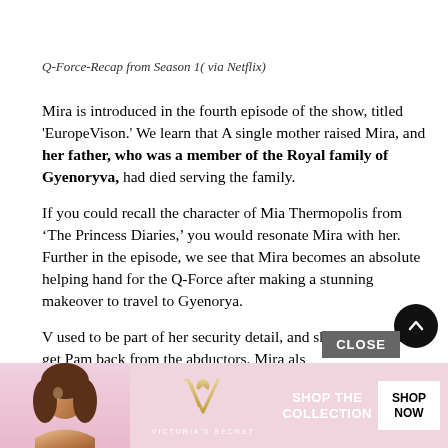Q-Force-Recap from Season 1( via Netflix)
Mira is introduced in the fourth episode of the show, titled 'EuropeVison.' We learn that A single mother raised Mira, and her father, who was a member of the Royal family of Gyenoryva, had died serving the family.
If you could recall the character of Mia Thermopolis from ‘The Princess Diaries,’ you would resonate Mira with her. Further in the episode, we see that Mira becomes an absolute helping hand for the Q-Force after making a stunning makeover to travel to Gyenorya.
V used to be part of her security detail, and she helps the team get Pam back from the abductors. Mira also des
[Figure (advertisement): Victoria's Secret advertisement banner with model, VS logo, 'SHOP THE COLLECTION' text, and 'SHOP NOW' button]